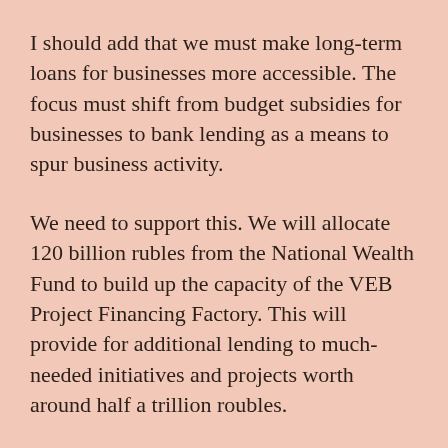I should add that we must make long-term loans for businesses more accessible. The focus must shift from budget subsidies for businesses to bank lending as a means to spur business activity.
We need to support this. We will allocate 120 billion rubles from the National Wealth Fund to build up the capacity of the VEB Project Financing Factory. This will provide for additional lending to much-needed initiatives and projects worth around half a trillion roubles.
Colleagues,